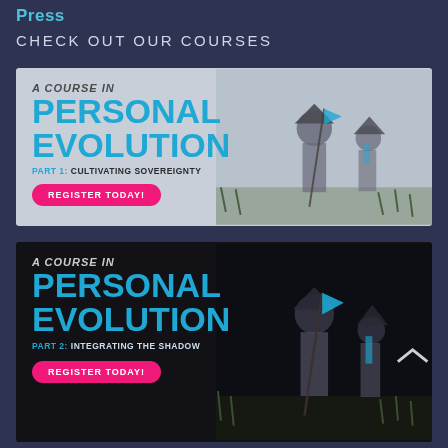Press
CHECK OUT OUR COURSES
[Figure (illustration): Course banner for 'A Course in Personal Evolution Part 1: Cultivating Sovereignty' with samurai illustration on light gray background. Features a pink 'REGISTER TODAY!' button.]
[Figure (illustration): Course banner for 'A Course in Personal Evolution Part 2: Integrating the Shadow' with samurai illustration on dark background. Features a pink 'REGISTER TODAY!' button.]